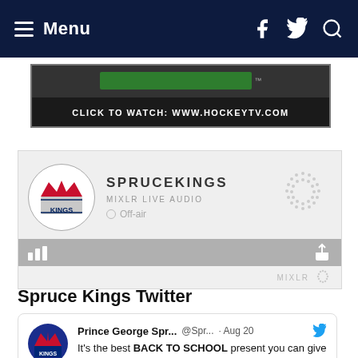Menu
[Figure (screenshot): HockeyTV video banner with green button and dark bar reading CLICK TO WATCH: WWW.HOCKEYTV.COM]
[Figure (screenshot): Mixlr live audio widget showing SPRUCEKINGS, MIXLR LIVE AUDIO, Off-air status with logo and decorative dots]
Spruce Kings Twitter
Prince George Spr... @Spr... · Aug 20 It's the best BACK TO SCHOOL present you can give your kids! Family Fun at amazing prices thanks to